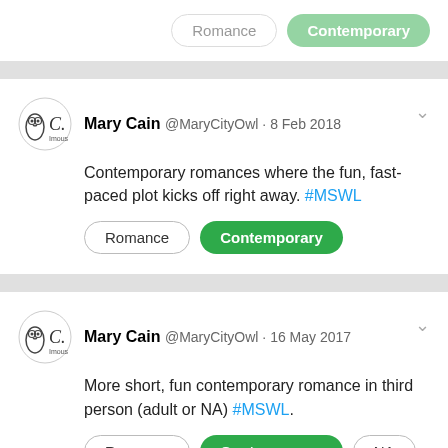[Figure (screenshot): Top partial tweet card with buttons visible at top]
Mary Cain @MaryCityOwl · 8 Feb 2018
Contemporary romances where the fun, fast-paced plot kicks off right away. #MSWL
Romance | Contemporary
Mary Cain @MaryCityOwl · 16 May 2017
More short, fun contemporary romance in third person (adult or NA) #MSWL.
Romance | Contemporary | NA | Adult